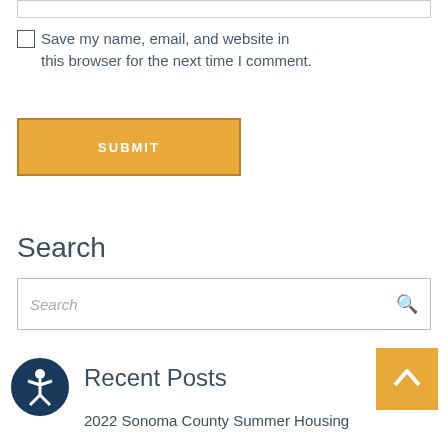Save my name, email, and website in this browser for the next time I comment.
SUBMIT
Search
Search
Recent Posts
2022 Sonoma County Summer Housing